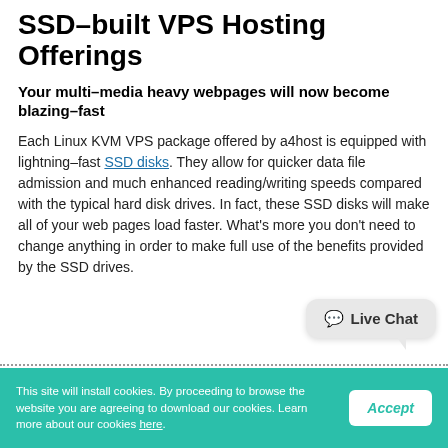SSD–built VPS Hosting Offerings
Your multi–media heavy webpages will now become blazing–fast
Each Linux KVM VPS package offered by a4host is equipped with lightning–fast SSD disks. They allow for quicker data file admission and much enhanced reading/writing speeds compared with the typical hard disk drives. In fact, these SSD disks will make all of your web pages load faster. What's more you don't need to change anything in order to make full use of the benefits provided by the SSD drives.
[Figure (other): Live Chat bubble widget in bottom right corner]
This site will install cookies. By proceeding to browse the website you are agreeing to download our cookies. Learn more about our cookies here.